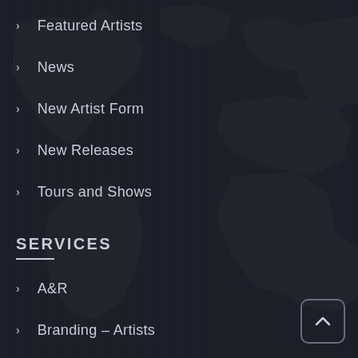> Featured Artists
> News
> New Artist Form
> New Releases
> Tours and Shows
SERVICES
> A&R
> Branding – Artists
> Branding – Catalogues
> Distribution
> Distribution Network
> iTunes – Booklets
> Jingles
> Join Our Newsletter